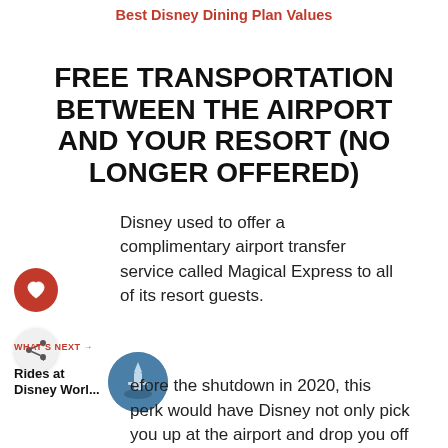Best Disney Dining Plan Values
FREE TRANSPORTATION BETWEEN THE AIRPORT AND YOUR RESORT (NO LONGER OFFERED)
Disney used to offer a complimentary airport transfer service called Magical Express to all of its resort guests.
efore the shutdown in 2020, this perk would have Disney not only pick you up at the airport and drop you off